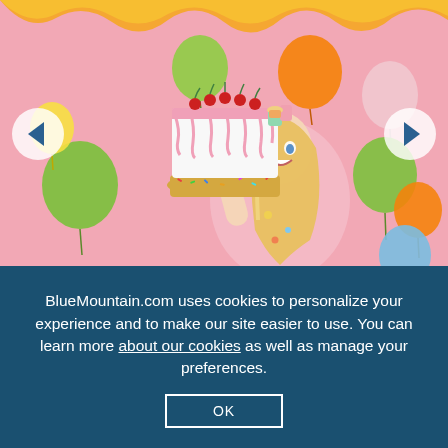[Figure (photo): A cheerful blonde woman in a pink dress holding a large decorated white drip cake with sprinkles and cherries, surrounded by colorful balloons against a pink background with a wavy orange and yellow border at the top. Navigation arrows on left and right sides of the image.]
BlueMountain.com uses cookies to personalize your experience and to make our site easier to use. You can learn more about our cookies as well as manage your preferences.